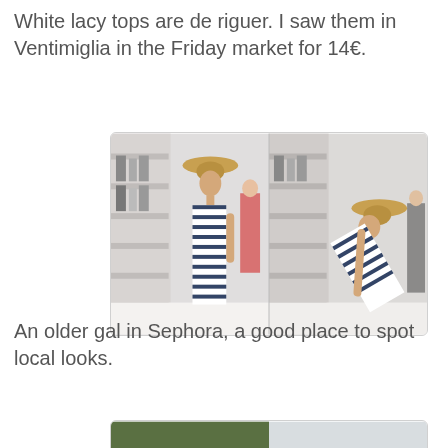White lacy tops are de riguer. I saw them in Ventimiglia in the Friday market for 14€.
[Figure (photo): Two side-by-side photos of an older woman in a striped maxi dress and wide-brim hat browsing products in a Sephora store.]
An older gal in Sephora, a good place to spot local looks.
[Figure (photo): A street scene with people walking along a promenade near the water. A woman in a white outfit with a white hat is prominent in the foreground.]